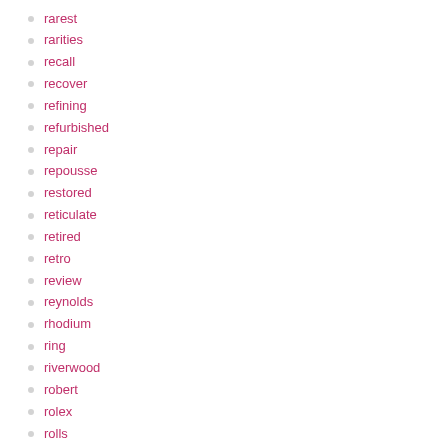rarest
rarities
recall
recover
refining
refurbished
repair
repousse
restored
reticulate
retired
retro
review
reynolds
rhodium
ring
riverwood
robert
rolex
rolls
rolls-royce